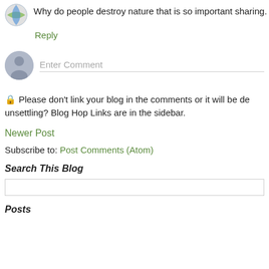Why do people destroy nature that is so important sharing.
Reply
[Figure (illustration): Grey person silhouette avatar icon in a circular frame, used as a comment placeholder profile picture]
Enter Comment
🔒 Please don't link your blog in the comments or it will be de unsettling? Blog Hop Links are in the sidebar.
Newer Post
Subscribe to: Post Comments (Atom)
Search This Blog
Posts